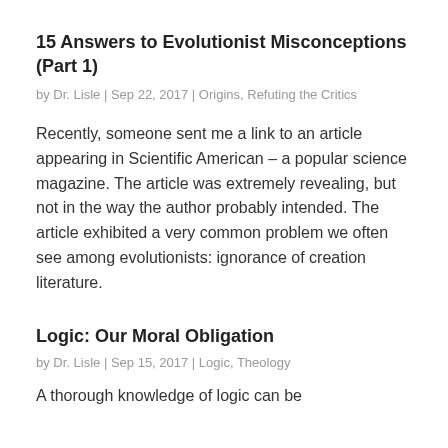15 Answers to Evolutionist Misconceptions (Part 1)
by Dr. Lisle | Sep 22, 2017 | Origins, Refuting the Critics
Recently, someone sent me a link to an article appearing in Scientific American – a popular science magazine. The article was extremely revealing, but not in the way the author probably intended. The article exhibited a very common problem we often see among evolutionists: ignorance of creation literature.
Logic: Our Moral Obligation
by Dr. Lisle | Sep 15, 2017 | Logic, Theology
A thorough knowledge of logic can be